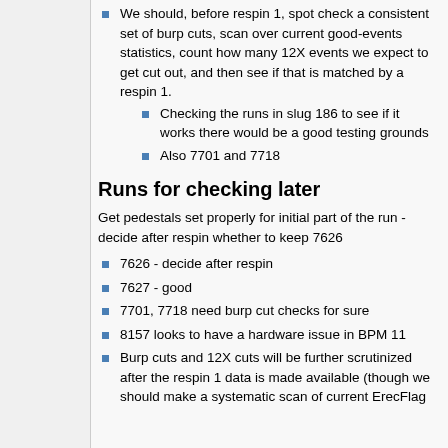We should, before respin 1, spot check a consistent set of burp cuts, scan over current good-events statistics, count how many 12X events we expect to get cut out, and then see if that is matched by a respin 1.
Checking the runs in slug 186 to see if it works there would be a good testing grounds
Also 7701 and 7718
Runs for checking later
Get pedestals set properly for initial part of the run - decide after respin whether to keep 7626
7626 - decide after respin
7627 - good
7701, 7718 need burp cut checks for sure
8157 looks to have a hardware issue in BPM 11
Burp cuts and 12X cuts will be further scrutinized after the respin 1 data is made available (though we should make a systematic scan of current ErecFlag...